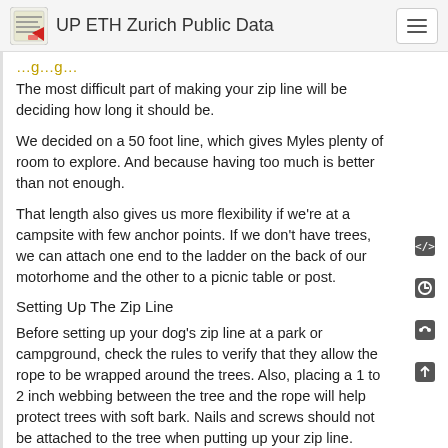UP ETH Zurich Public Data
The most difficult part of making your zip line will be deciding how long it should be.
We decided on a 50 foot line, which gives Myles plenty of room to explore. And because having too much is better than not enough.
That length also gives us more flexibility if we're at a campsite with few anchor points. If we don't have trees, we can attach one end to the ladder on the back of our motorhome and the other to a picnic table or post.
Setting Up The Zip Line
Before setting up your dog's zip line at a park or campground, check the rules to verify that they allow the rope to be wrapped around the trees. Also, placing a 1 to 2 inch webbing between the tree and the rope will help protect trees with soft bark. Nails and screws should not be attached to the tree when putting up your zip line.
It takes about five minutes to set up our zip line. In the